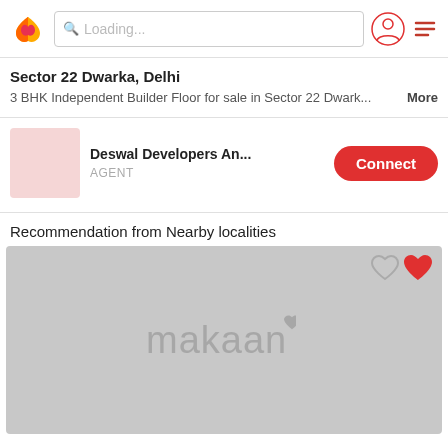Loading...
Sector 22 Dwarka, Delhi
3 BHK Independent Builder Floor for sale in Sector 22 Dwark... More
Deswal Developers An... | AGENT | Connect
Recommendation from Nearby localities
[Figure (screenshot): Makaan.com placeholder property image with logo watermark and heart icons]
3 BHK Independent Floor 1,200 sq ft    ₹91 L
Sector 8 Dwarka, Delhi